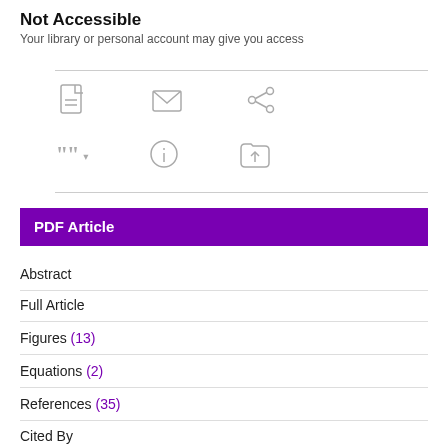Not Accessible
Your library or personal account may give you access
[Figure (infographic): Row of three icons: PDF document icon, email/envelope icon, share icon (three connected circles)]
[Figure (infographic): Row of three icons: cite/quote icon with dropdown arrow, alert/info circle icon, upload to folder icon]
PDF Article
Abstract
Full Article
Figures (13)
Equations (2)
References (35)
Cited By